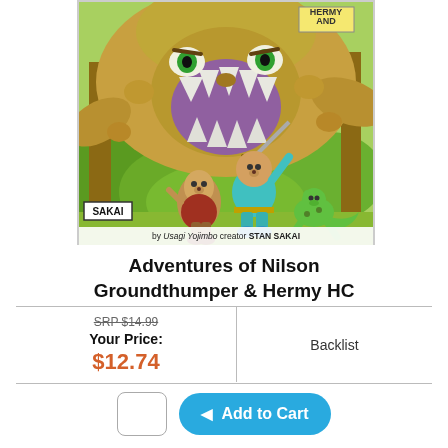[Figure (illustration): Book cover illustration for 'Adventures of Nilson Groundthumper & Hermy HC' by Stan Sakai (Usagi Yojimbo creator). Shows a large scary monster with an open mouth full of teeth looming above three cartoon characters: an egg-shaped character, a dog-like character in teal holding a sword, and a green lizard/dinosaur. Forest background. SAKAI signature in corner. Text at bottom: 'by Usagi Yojimbo creator STAN SAKAI'.]
Adventures of Nilson Groundthumper & Hermy HC
|  |  |
| --- | --- |
| SRP $14.99
Your Price:
$12.74 | Backlist |
Add to Cart